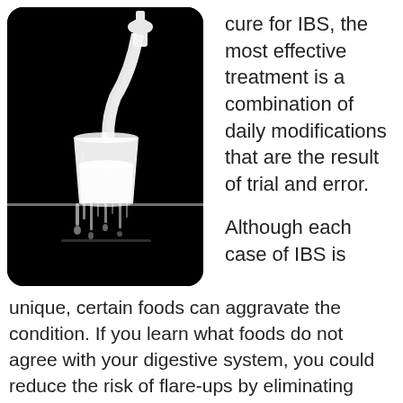[Figure (photo): Black and white photo of milk being poured from a bottle into a glass, with milk overflowing and dripping off the edge of a surface, set against a black background.]
cure for IBS, the most effective treatment is a combination of daily modifications that are the result of trial and error.
Although each case of IBS is unique, certain foods can aggravate the condition. If you learn what foods do not agree with your digestive system, you could reduce the risk of flare-ups by eliminating those foods from your diet. Here are some common foods that can make IBS worse, along with